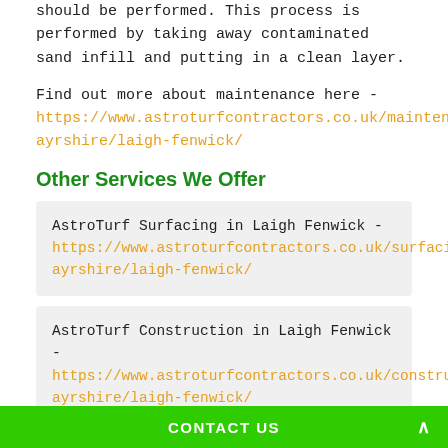should be performed. This process is performed by taking away contaminated sand infill and putting in a clean layer.
Find out more about maintenance here - https://www.astroturfcontractors.co.uk/maintenance/east-ayrshire/laigh-fenwick/
Other Services We Offer
AstroTurf Surfacing in Laigh Fenwick - https://www.astroturfcontractors.co.uk/surfacing/east-ayrshire/laigh-fenwick/
AstroTurf Construction in Laigh Fenwick - https://www.astroturfcontractors.co.uk/construction/east-ayrshire/laigh-fenwick/
AstroTurf Maintenance in Laigh Fenwick - https://www.astroturfcontractors.co.uk/maintenance/east-ayrshir
CONTACT US